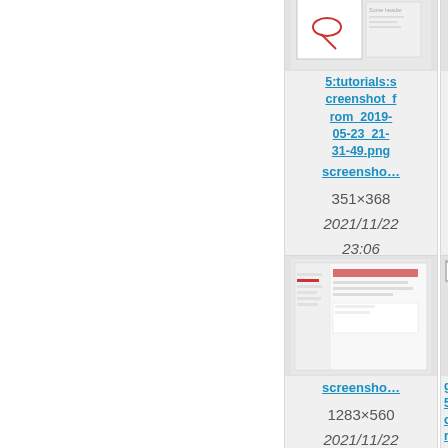[Figure (screenshot): File browser card showing screenshot thumbnail with link '5:tutorials:screenshot_from_2019-05-23_21-31-49.png', dimensions 351×368, date 2021/11/22 23:06, size 25.1 KB]
[Figure (screenshot): Partially visible file browser card on the right side, showing a screenshot thumbnail, truncated link 'scree...', dimensions starting with 769, date 2021/... 23, size 11.something]
[Figure (screenshot): File browser card showing screenshot thumbnail with link 'screensho...', dimensions 1283×560, date 2021/11/22 23:06, size 49.8 KB]
[Figure (screenshot): Partially visible file browser card on the right, showing broken image icon, link starting with 'gd' then '5:tuto cree rom_ 05-2 05-0', truncated link 'scree...', dimensions starting with 129, date 2021/... 23, size 17.4]